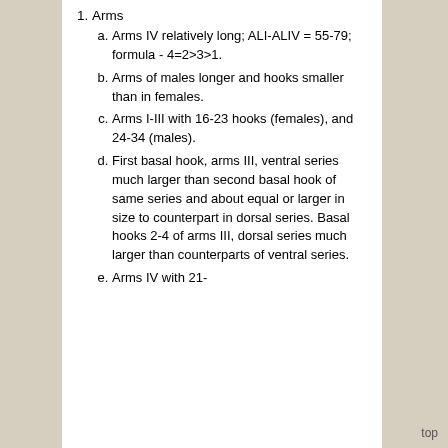Arms
Arms IV relatively long; ALI-ALIV = 55-79; formula - 4=2>3>1.
Arms of males longer and hooks smaller than in females.
Arms I-III with 16-23 hooks (females), and 24-34 (males).
First basal hook, arms III, ventral series much larger than second basal hook of same series and about equal or larger in size to counterpart in dorsal series. Basal hooks 2-4 of arms III, dorsal series much larger than counterparts of ventral series.
Arms IV with 21-
top